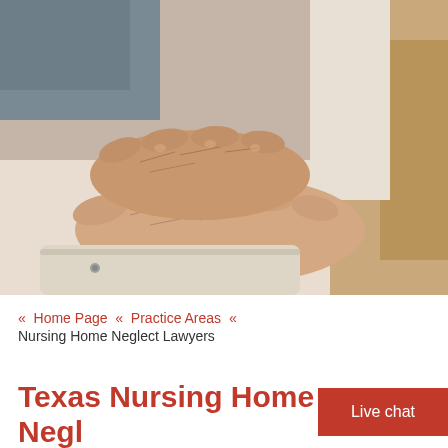[Figure (photo): Close-up photograph of elderly person's wrinkled hands resting on a cream/beige surface, with another person's hands placed on top in a caring gesture. Background shows soft blurred tones of grey and beige.]
« Home Page « Practice Areas «
Nursing Home Neglect Lawyers
Texas Nursing Home Negl Lawyers